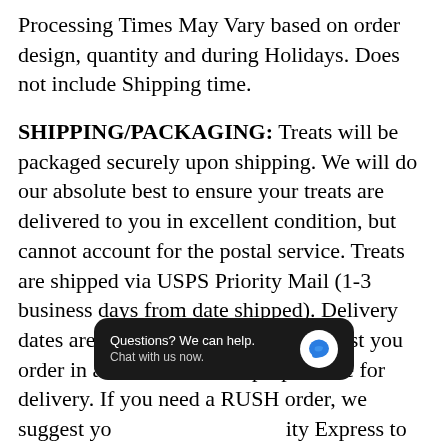Processing Times May Vary based on order design, quantity and during Holidays. Does not include Shipping time.
SHIPPING/PACKAGING: Treats will be packaged securely upon shipping. We will do our absolute best to ensure your treats are delivered to you in excellent condition, but cannot account for the postal service. Treats are shipped via USPS Priority Mail (1-3 business days from date shipped). Delivery dates are not guaranteed, so we suggest you order in advance to insure proper time for delivery. If you need a RUSH order, we suggest yo... ity Express to get your... overnight. Once an order reaches the post office, it is
[Figure (screenshot): Chat widget overlay with dark background showing 'Questions? We can help. Chat with us now.' with a blue speech bubble icon.]